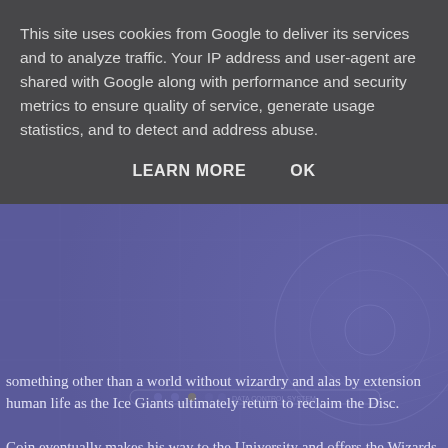[Figure (infographic): Purple/blue toned background with blueprint-style tech diagram overlay (circles, lines, grid patterns) visible behind the text content.]
something other than a world without wizardry and alas by extension human life as the Ice Giants ultimately return to reclaim the Disc.
Coin eventually makes his way to the University and offers the Wizards power and influence beyond the walls they themselves have made however with the wisdom of mages down the centuries the Archchancellors Hat arranges for itself to be stolen but ends up in the hands of Rincewind who truth to form gets as far away from the University as possible.
Well there we have the foundation for the fifth novel in the Discworld series, a Sorcerer who can pretty much do anything leads the University faction of the Wizarding world into a Mage War and once again the Discworld trembles on the edge of catastrophe. Rincewind has to do something about...
This site uses cookies from Google to deliver its services and to analyze traffic. Your IP address and user-agent are shared with Google along with performance and security metrics to ensure quality of service, generate usage statistics, and to detect and address abuse.
LEARN MORE    OK